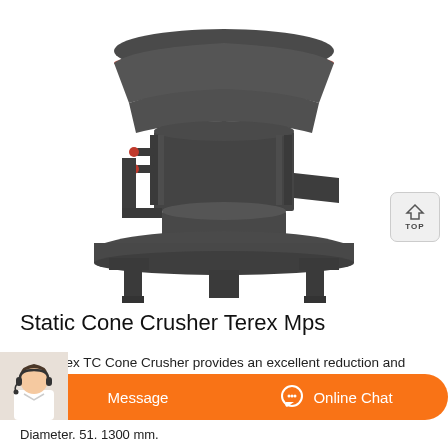[Figure (photo): Photo of a Static Cone Crusher Terex Mps machine — a large industrial grey cone crusher with a wide circular top bowl with an orange/red band, cylindrical body with fins and red valve fittings, and a wide circular base with support legs. White background.]
Static Cone Crusher Terex Mps
The Terex TC Cone Crusher provides an excellent reduction and product
[Figure (illustration): TOP navigation button icon — house/home shape with up arrow, rounded square container with label TOP]
[Figure (photo): Customer service avatar — woman with headset in white top, partial view]
Message
Online Chat
Diameter. 51. 1300 mm.